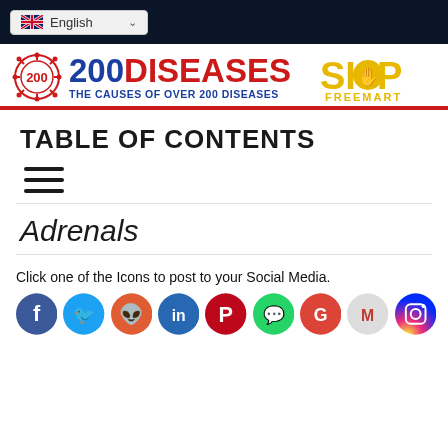English (language selector)
[Figure (logo): 200 Diseases logo with virus icon and Shop Freemart logo]
TABLE OF CONTENTS
[Figure (other): Hamburger menu icon (three horizontal lines)]
Adrenals
Click one of the Icons to post to your Social Media.
[Figure (other): Social media icons: Facebook, Twitter, Reddit, LinkedIn, Pinterest, WhatsApp, Google, Gmail, Instagram]